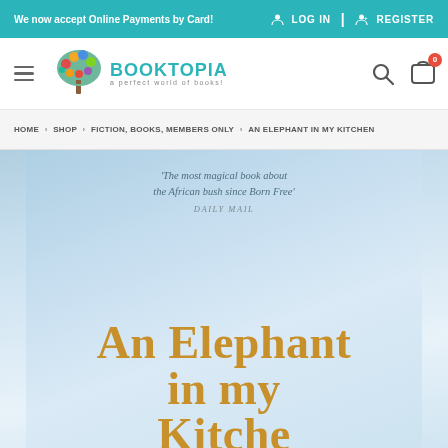We now accept Online Payments by Card! | LOG IN | REGISTER
[Figure (logo): Booktopia logo — tree with colorful books, text 'BOOKTOPIA A Perfect World of Books!']
HOME › SHOP › FICTION, BOOKS, MEMBERS ONLY › AN ELEPHANT IN MY KITCHEN
[Figure (photo): Book cover of 'An Elephant in my Kitchen' with light blue sky background. Quote reads: 'The most magical book about the African bush since Born Free' DAILY MAIL. Title text in large golden serif font: An Elephant in my Kitchen.]